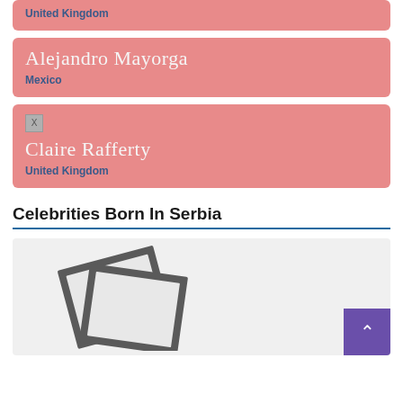United Kingdom
Alejandro Mayorga
Mexico
Claire Rafferty
United Kingdom
Celebrities Born In Serbia
[Figure (photo): Photo placeholder with stacked frame icons and a purple scroll-to-top button]